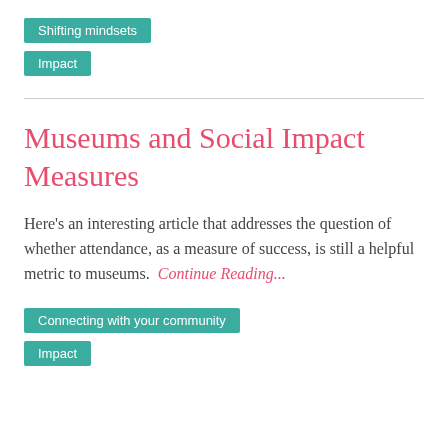Shifting mindsets
Impact
Museums and Social Impact Measures
Here's an interesting article that addresses the question of whether attendance, as a measure of success, is still a helpful metric to museums.  Continue Reading...
Connecting with your community
Impact